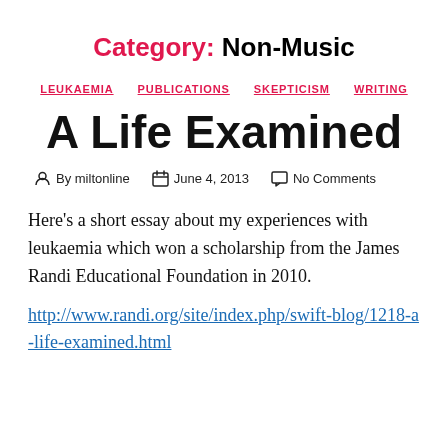Category: Non-Music
LEUKAEMIA   PUBLICATIONS   SKEPTICISM   WRITING
A Life Examined
By miltonline   June 4, 2013   No Comments
Here's a short essay about my experiences with leukaemia which won a scholarship from the James Randi Educational Foundation in 2010.
http://www.randi.org/site/index.php/swift-blog/1218-a-life-examined.html